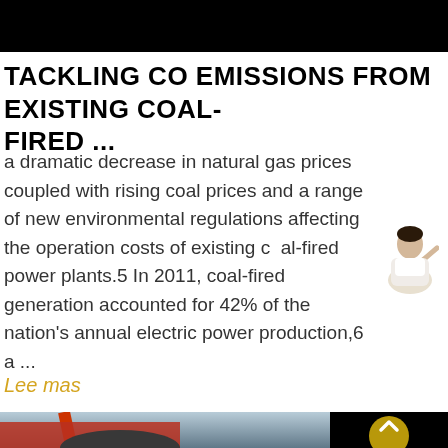TACKLING CO EMISSIONS FROM EXISTING COAL-FIRED ...
a dramatic decrease in natural gas prices coupled with rising coal prices and a range of new environmental regulations affecting the operation costs of existing coal-fired power plants.5 In 2011, coal-fired generation accounted for 42% of the nation's annual electric power production,6 a ...
Lee mas
[Figure (photo): Industrial coal-fired power plant equipment, showing crane arms and heavy machinery in red and dark colors]
[Figure (other): Black panel with scroll-to-top button (golden circle with upward chevron)]